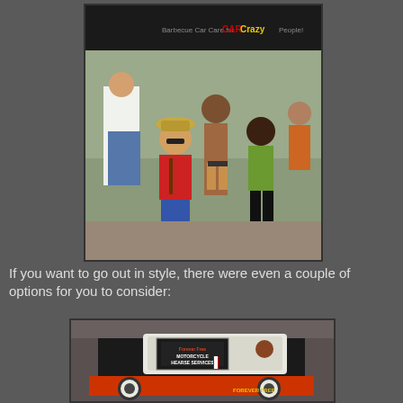[Figure (photo): Outdoor event/fair scene with people walking. A woman in a red top, hat, and jeans faces the camera. Behind her is a person wearing very minimal clothing (thong). A tent sign in the background reads 'Car Crazy People'.]
If you want to go out in style, there were even a couple of options for you to consider:
[Figure (photo): A vintage hearse-style motorcycle vehicle with an open casket on the back, white satin lining visible. A sign reads 'Forever Free Motorcycle Hearse Services'. Text on the vehicle reads 'FOREVER FREE'.]